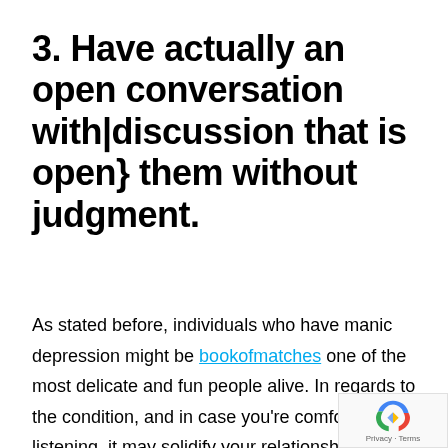3. Have actually an open conversation with|discussion that is open} them without judgment.
As stated before, individuals who have manic depression might be bookofmatches one of the most delicate and fun people alive. In regards to the condition, and in case you're comfortable listening, it may solidify your relationship if they're comfortable speaking with you. If youвЂ™re perhaps not much